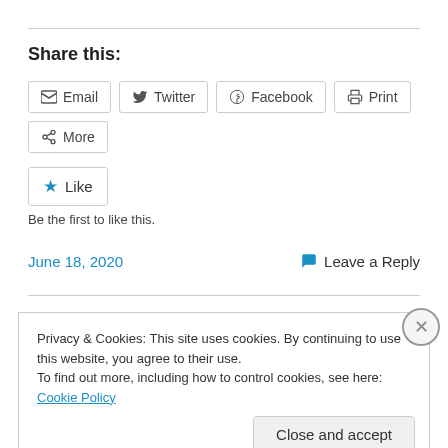Share this:
Email  Twitter  Facebook  Print  More
★ Like
Be the first to like this.
June 18, 2020    💬 Leave a Reply
Privacy & Cookies: This site uses cookies. By continuing to use this website, you agree to their use.
To find out more, including how to control cookies, see here: Cookie Policy